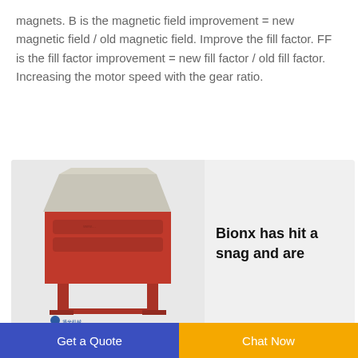magnets. B is the magnetic field improvement = new magnetic field / old magnetic field. Improve the fill factor. FF is the fill factor improvement = new fill factor / old fill factor. Increasing the motor speed with the gear ratio.
[Figure (photo): Industrial shredder/rotor machine with red lower body and gray hopper on top, with Chinese branding text at the bottom. Adjacent text box reads: Bionx has hit a snag and are]
reorganizing
In the pic above the rotor shown is the part that spins
Get a Quote | Chat Now